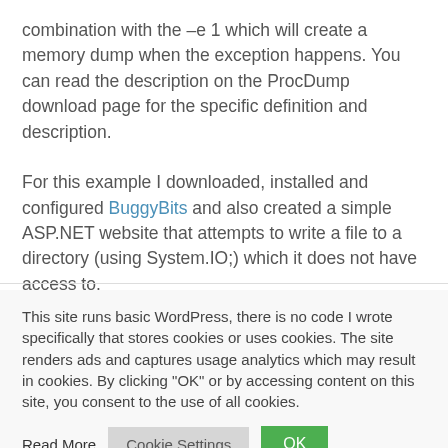combination with the –e 1 which will create a memory dump when the exception happens. You can read the description on the ProcDump download page for the specific definition and description.

For this example I downloaded, installed and configured BuggyBits and also created a simple ASP.NET website that attempts to write a file to a directory (using System.IO;) which it does not have access to.
This site runs basic WordPress, there is no code I wrote specifically that stores cookies or uses cookies. The site renders ads and captures usage analytics which may result in cookies. By clicking "OK" or by accessing content on this site, you consent to the use of all cookies.